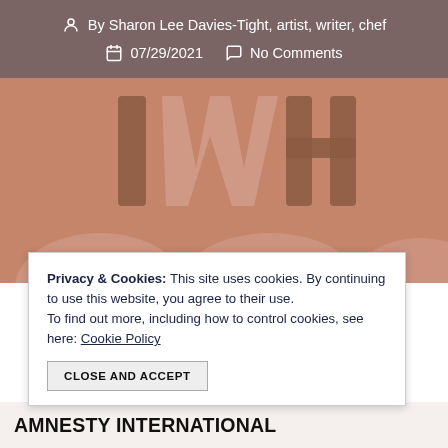By Sharon Lee Davies-Tight, artist, writer, chef | 07/29/2021 | No Comments
[Figure (illustration): A reddish-brown background image showing large stylized letters 'IWH' in dark brown, with partial curved text at the bottom, appearing to be a blog post feature image.]
Privacy & Cookies: This site uses cookies. By continuing to use this website, you agree to their use. To find out more, including how to control cookies, see here: Cookie Policy
CLOSE AND ACCEPT
AMNESTY INTERNATIONAL